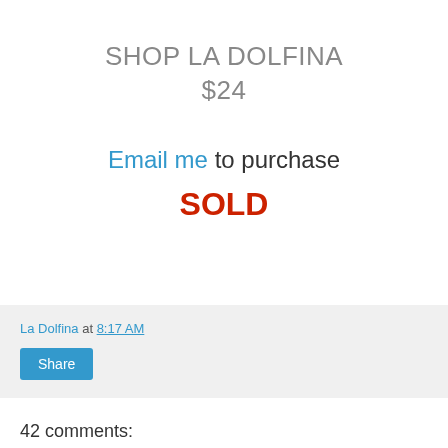SHOP LA DOLFINA
$24
Email me to purchase
SOLD
La Dolfina at 8:17 AM
42 comments: